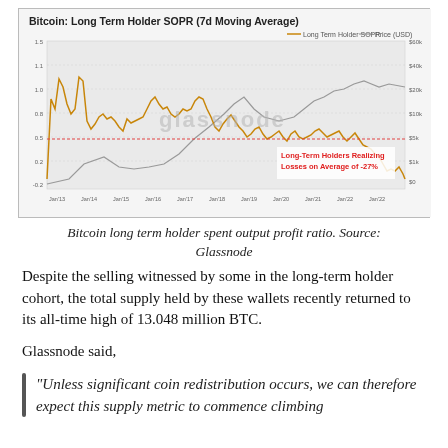[Figure (continuous-plot): Line chart showing Bitcoin Long Term Holder SOPR (7-day moving average) in orange and Bitcoin price in USD as a grey line, from approximately 2013 to 2022. The chart includes a red dotted horizontal line and a label reading 'Long-Term Holders Realizing Losses on Average of -27%'. Watermark: glassnode.]
Bitcoin long term holder spent output profit ratio. Source: Glassnode
Despite the selling witnessed by some in the long-term holder cohort, the total supply held by these wallets recently returned to its all-time high of 13.048 million BTC.
Glassnode said,
“Unless significant coin redistribution occurs, we can therefore expect this supply metric to commence climbing